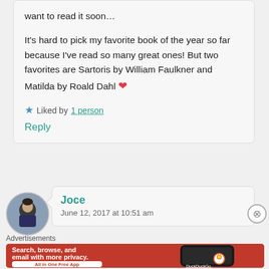want to read it soon… It's hard to pick my favorite book of the year so far because I've read so many great ones! But two favorites are Sartoris by William Faulkner and Matilda by Roald Dahl ❤
★ Liked by 1 person
Reply
Joce
June 12, 2017 at 10:51 am
Advertisements
[Figure (screenshot): DuckDuckGo advertisement banner: 'Search, browse, and email with more privacy. All in One Free App' with DuckDuckGo logo and phone image on orange/red background.]